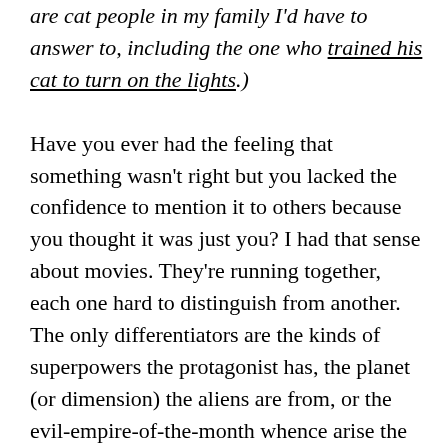are cat people in my family I'd have to answer to, including the one who trained his cat to turn on the lights.)
Have you ever had the feeling that something wasn't right but you lacked the confidence to mention it to others because you thought it was just you? I had that sense about movies. They're running together, each one hard to distinguish from another. The only differentiators are the kinds of superpowers the protagonist has, the planet (or dimension) the aliens are from, or the evil-empire-of-the-month whence arise the powers that are going to wipe out the free world as we know it.